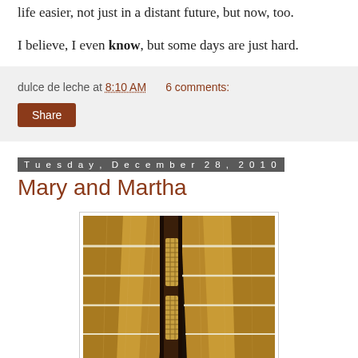life easier, not just in a distant future, but now, too.
I believe, I even know, but some days are just hard.
dulce de leche at 8:10 AM   6 comments:
Share
Tuesday, December 28, 2010
Mary and Martha
[Figure (photo): Close-up photograph of several brooms with straw bristles bundled together, showing woven handles in tan and dark colors]